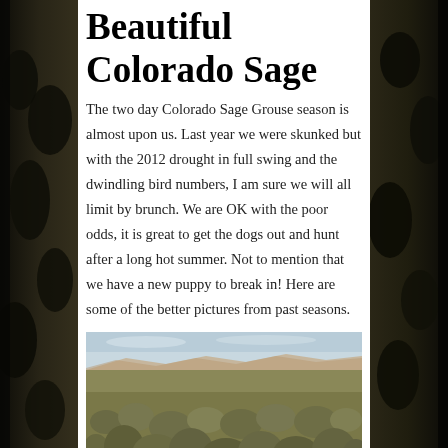Beautiful Colorado Sage
The two day Colorado Sage Grouse season is almost upon us. Last year we were skunked but with the 2012 drought in full swing and the dwindling bird numbers, I am sure we will all limit by brunch. We are OK with the poor odds, it is great to get the dogs out and hunt after a long hot summer. Not to mention that we have a new puppy to break in! Here are some of the better pictures from past seasons.
[Figure (photo): Landscape photo of Colorado sage brush terrain with low shrubs covering a flat plain, distant hills and sky on the horizon.]